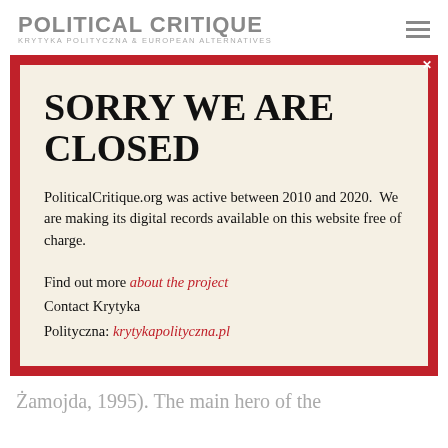POLITICAL CRITIQUE
KRYTYKA POLITYCZNA & EUROPEAN ALTERNATIVES
SORRY WE ARE CLOSED
PoliticalCritique.org was active between 2010 and 2020.  We are making its digital records available on this website free of charge.
Find out more about the project
Contact Krytyka Polityczna: krytykapolityczna.pl
Żamojda, 1995). The main hero of the